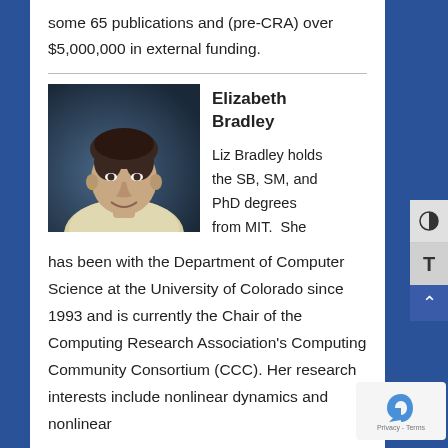some 65 publications and (pre-CRA) over $5,000,000 in external funding.
[Figure (photo): Headshot photo of Elizabeth Bradley, a woman with short dark hair wearing a light-colored sweater, against a dark background.]
Elizabeth Bradley
Liz Bradley holds the SB, SM, and PhD degrees from MIT.  She has been with the Department of Computer Science at the University of Colorado since 1993 and is currently the Chair of the Computing Research Association's Computing Community Consortium (CCC). Her research interests include nonlinear dynamics and nonlinear